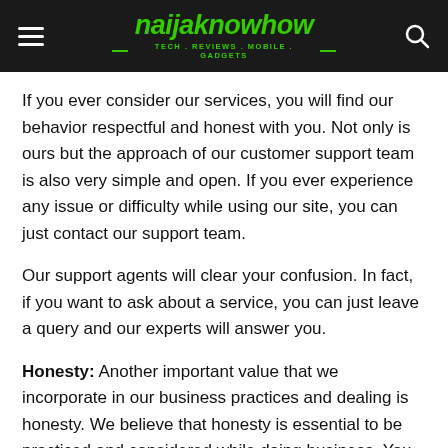naijaknowhow — TECH . REVIEWS . MOBILE . GADGETS
If you ever consider our services, you will find our behavior respectful and honest with you. Not only is ours but the approach of our customer support team is also very simple and open. If you ever experience any issue or difficulty while using our site, you can just contact our support team.
Our support agents will clear your confusion. In fact, if you want to ask about a service, you can just leave a query and our experts will answer you.
Honesty: Another important value that we incorporate in our business practices and dealing is honesty. We believe that honesty is essential to be practiced and considered while doing business. You can say that our dealings are based on